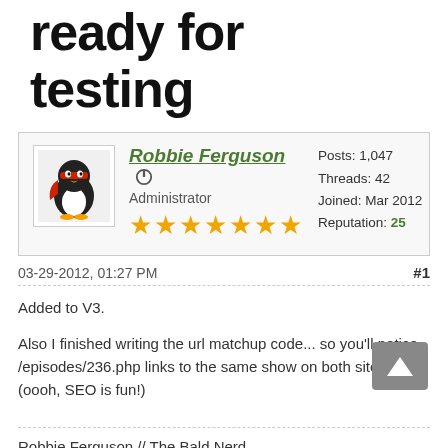ready for testing
[Figure (photo): User avatar showing a penguin character with a red mask]
Robbie Ferguson [power icon] Administrator ★★★★★★★ Posts: 1,047 Threads: 42 Joined: Mar 2012 Reputation: 25
03-29-2012, 01:27 PM #1
Added to V3.

Also I finished writing the url matchup code... so you'll notice /episodes/236.php links to the same show on both sites (oooh, SEO is fun!)
Robbie Ferguson // The Bald Nerd
Did I help you out? Appreciate what I do? Please consider saying thanks: